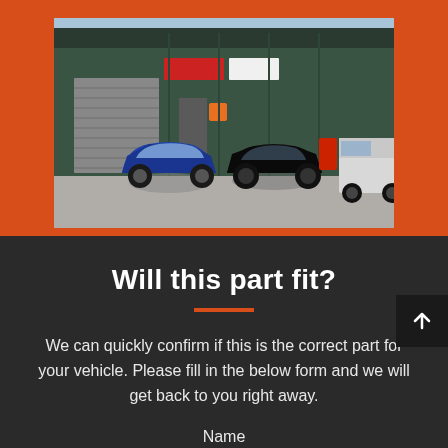[Figure (photo): Exterior photo of an automotive workshop/garage building with green metal cladding and a roller shutter door. A blue Volkswagen Golf R32 and a black Volkswagen Polo GTI are parked in front. A white van is visible on the right. Orange background surrounds the photo.]
Will this part fit?
We can quickly confirm if this is the correct part for your vehicle. Please fill in the below form and we will get back to you right away.
Name